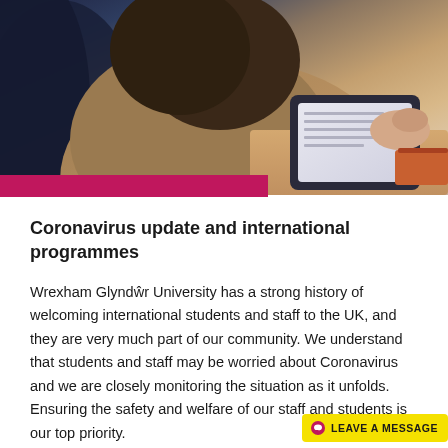[Figure (photo): A student seen from behind, wearing a brown sweater, working on a tablet device. Dark blue background on the left side, warm tones throughout.]
Coronavirus update and international programmes
Wrexham Glyndŵr University has a strong history of welcoming international students and staff to the UK, and they are very much part of our community. We understand that students and staff may be worried about Coronavirus and we are closely monitoring the situation as it unfolds. Ensuring the safety and welfare of our staff and students is our top priority.